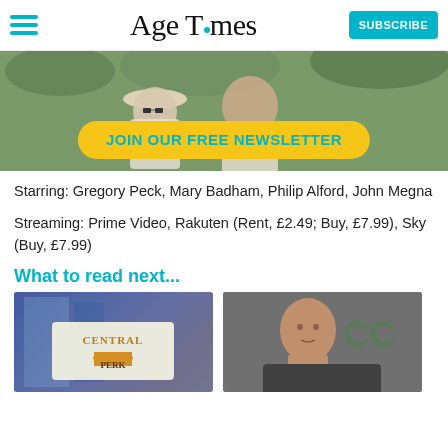Age Times — SUBSCRIBE
[Figure (photo): Two older people smiling outdoors, with a yellow banner overlay reading JOIN OUR FREE NEWSLETTER]
Starring: Gregory Peck, Mary Badham, Philip Alford, John Megna
Streaming: Prime Video, Rakuten (Rent, £2.49; Buy, £7.99), Sky (Buy, £7.99)
What to read next...
[Figure (photo): Central Perk coffee shop sign from Friends TV show]
[Figure (photo): Bald man at what appears to be a comic convention, Comic-Con background visible]